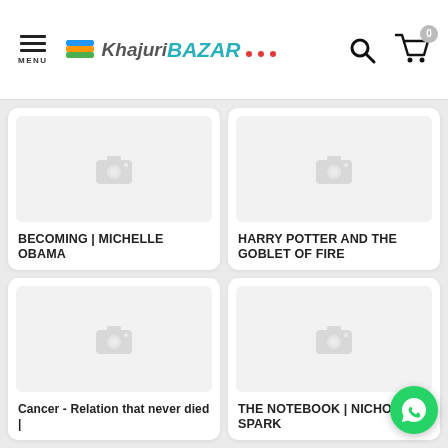[Figure (logo): Khajuri Bazar e-commerce website header with hamburger menu, logo, search icon, and cart with 0 items badge]
[Figure (photo): Product card: BECOMING | MICHELLE OBAMA — placeholder image with camera icon]
[Figure (photo): Product card: HARRY POTTER AND THE GOBLET OF FIRE — placeholder image with camera icon]
[Figure (photo): Product card: Cancer - Relation that never died | — placeholder image with camera icon]
[Figure (photo): Product card: THE NOTEBOOK | NICHOLSAS SPARK — placeholder image with camera icon]